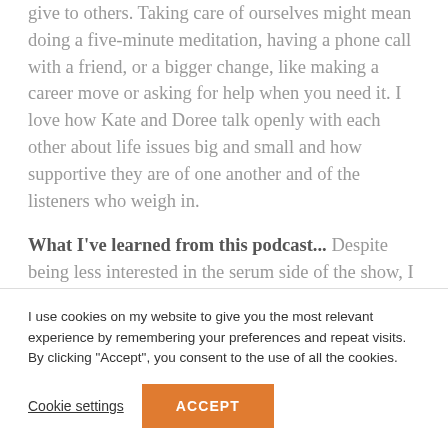give to others. Taking care of ourselves might mean doing a five-minute meditation, having a phone call with a friend, or a bigger change, like making a career move or asking for help when you need it. I love how Kate and Doree talk openly with each other about life issues big and small and how supportive they are of one another and of the listeners who weigh in.
What I've learned from this podcast... Despite being less interested in the serum side of the show, I have learned a lot about skincare. During the pandemic, with ample time at home, I now have a day and night...
I use cookies on my website to give you the most relevant experience by remembering your preferences and repeat visits. By clicking "Accept", you consent to the use of all the cookies.